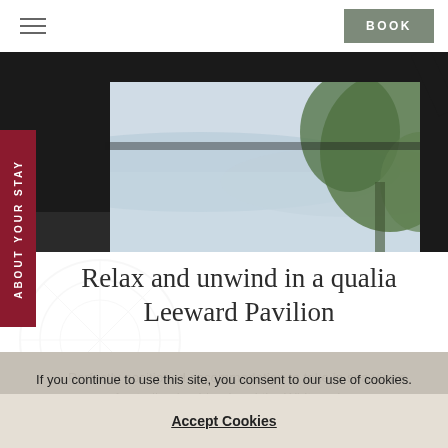BOOK
[Figure (photo): Interior view through open dark-framed windows looking out to misty sea, mountains, and green trees (Whitsundays landscape)]
Relax and unwind in a qualia Leeward Pavilion
Perfectly positioned accommodation to take in sea views, Australian bushland and the Whitsundays.
If you continue to use this site, you consent to our use of cookies. Learn how to manage cookies
Accept Cookies